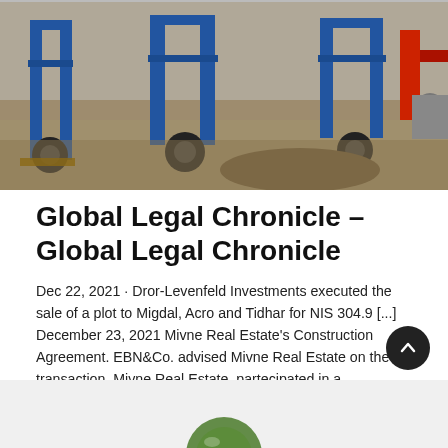[Figure (photo): Photograph of blue industrial construction equipment/trailers on a gravel/dirt site with machinery parts visible]
Global Legal Chronicle – Global Legal Chronicle
Dec 22, 2021 · Dror-Levenfeld Investments executed the sale of a plot to Migdal, Acro and Tidhar for NIS 304.9 [...] December 23, 2021 Mivne Real Estate's Construction Agreement. EBN&Co. advised Mivne Real Estate on the transaction. Mivne Real Estate, partecipated in a groundbreaking transaction for the construction of multiple energy-storage facilities in
Learn More
[Figure (photo): Partial view of bottom strip with a green circular element partially visible at the bottom center]